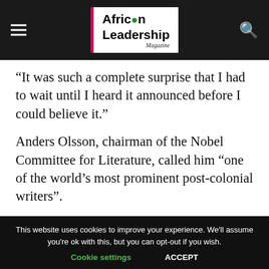African Leadership Magazine
“It was such a complete surprise that I had to wait until I heard it announced before I could believe it.”
Anders Olsson, chairman of the Nobel Committee for Literature, called him “one of the world’s most prominent post-colonial writers”.
The prestigious award comes with a gold medal and 10 million Swedish kronor ($1.14m).
This website uses cookies to improve your experience. We'll assume you're ok with this, but you can opt-out if you wish. Cookie settings ACCEPT